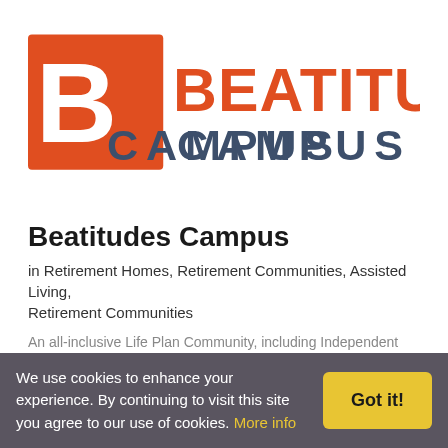[Figure (logo): Beatitudes Campus logo: orange square with white letter B on left, BEATITUDES in orange bold text on top right, CAMPUS in dark blue/gray spaced letters below]
Beatitudes Campus
in Retirement Homes, Retirement Communities, Assisted Living, Retirement Communities
An all-inclusive Life Plan Community, including Independent Living,
We use cookies to enhance your experience. By continuing to visit this site you agree to our use of cookies. More info